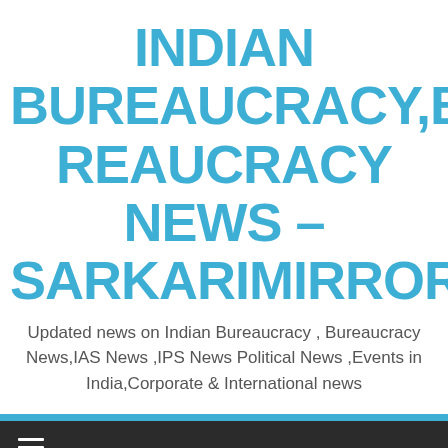INDIAN BUREAUCRACY,BUREAUCRACY NEWS – SARKARIMIRROR
Updated news on Indian Bureaucracy , Bureaucracy News,IAS News ,IPS News Political News ,Events in India,Corporate & International news
credit